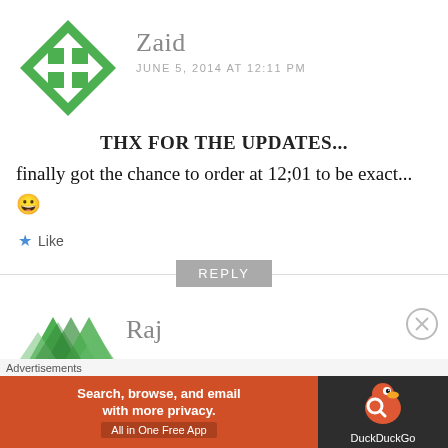[Figure (logo): Green geometric diamond/cross avatar icon for user Zaid]
Zaid
JUNE 5, 2014 AT 12:11 PM
THX FOR THE UPDATES...
finally got the chance to order at 12;01 to be exact... 😀
Like
REPLY
[Figure (logo): Green geometric triangles avatar icon for user Raj]
Raj
Advertisements
[Figure (infographic): DuckDuckGo advertisement banner: Search, browse, and email with more privacy. All in One Free App]